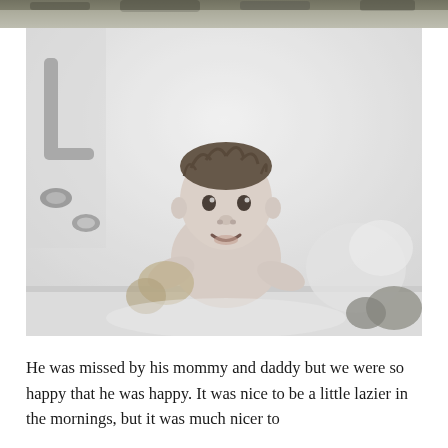[Figure (photo): Top partial strip: outdoor scene with foliage/ground, black and white.]
[Figure (photo): Black and white photograph of a young toddler/baby in a bathtub, wet hair, looking at the camera. Bathtub faucet visible on the left. Bath toys or objects visible around the child.]
He was missed by his mommy and daddy but we were so happy that he was happy. It was nice to be a little lazier in the mornings, but it was much nicer to